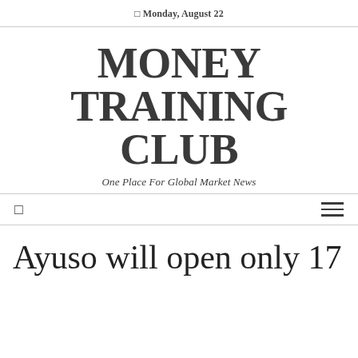Monday, August 22
MONEY TRAINING CLUB
One Place For Global Market News
Ayuso will open only 17